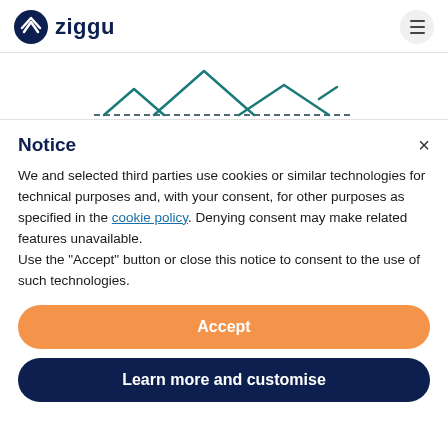[Figure (logo): Ziggu logo: dark navy circle with white Z arrow icon, followed by bold navy text 'ziggu']
[Figure (illustration): Line drawing of house rooftops in teal/dark teal color with a dashed baseline, representing a neighborhood skyline]
Notice
We and selected third parties use cookies or similar technologies for technical purposes and, with your consent, for other purposes as specified in the cookie policy. Denying consent may make related features unavailable.
Use the "Accept" button or close this notice to consent to the use of such technologies.
Accept
Learn more and customise